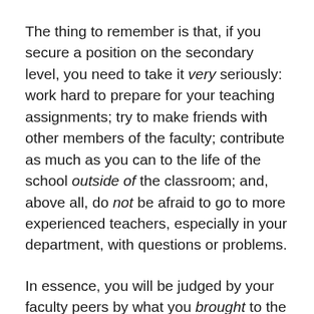The thing to remember is that, if you secure a position on the secondary level, you need to take it very seriously: work hard to prepare for your teaching assignments; try to make friends with other members of the faculty; contribute as much as you can to the life of the school outside of the classroom; and, above all, do not be afraid to go to more experienced teachers, especially in your department, with questions or problems.
In essence, you will be judged by your faculty peers by what you brought to the school when you were hired and, of course, how much you contribute to school life as a member of the faculty.  It might seem difficult at first to fit in.  You'll be trying to prepare your courses, perhaps including some you've not previously taught; learn how your school operates; work constructively with colleagues in your department; and if you are a beginning teacher,